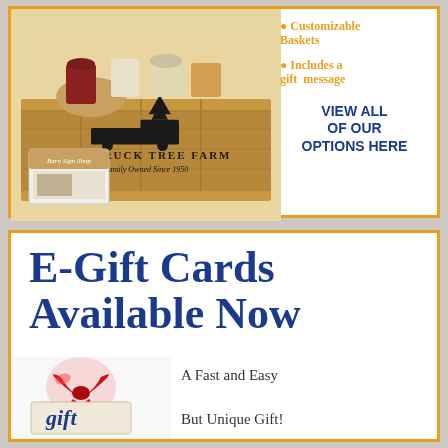[Figure (photo): Wooden gift basket crate branded 'Red Truck Tree Farm, Family Owned Since 1950' filled with gourmet products, and a gift card in front]
Customizable Baskets
Includes a gift message
VIEW ALL OF OUR OPTIONS HERE
E-Gift Cards Available Now
[Figure (photo): Red bow on a gift card with the word 'gift' partially visible]
A Fast and Easy But Unique Gift!